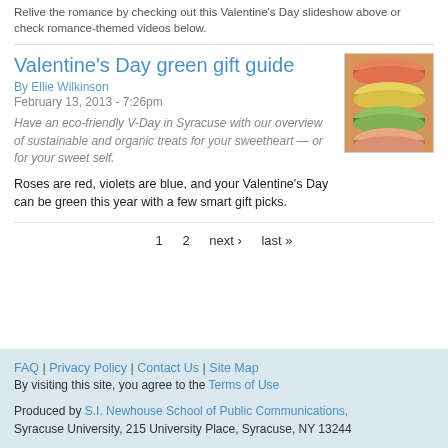Relive the romance by checking out this Valentine's Day slideshow above or check romance-themed videos below.
Valentine's Day green gift guide
By Ellie Wilkinson
February 13, 2013 - 7:26pm
Have an eco-friendly V-Day in Syracuse with our overview of sustainable and organic treats for your sweetheart — or for your sweet self.
[Figure (photo): Photo of colorful macarons stacked together in orange, yellow, and green colors]
Roses are red, violets are blue, and your Valentine's Day can be green this year with a few smart gift picks.
1  2  next ›  last »
FAQ | Privacy Policy | Contact Us | Site Map
By visiting this site, you agree to the Terms of Use
Produced by S.I. Newhouse School of Public Communications, Syracuse University, 215 University Place, Syracuse, NY 13244